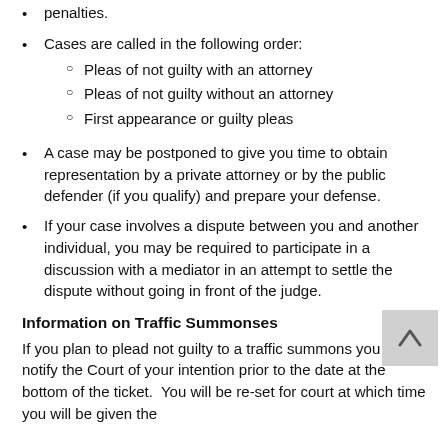penalties.
Cases are called in the following order:
  ○ Pleas of not guilty with an attorney
  ○ Pleas of not guilty without an attorney
  ○ First appearance or guilty pleas
A case may be postponed to give you time to obtain representation by a private attorney or by the public defender (if you qualify) and prepare your defense.
If your case involves a dispute between you and another individual, you may be required to participate in a discussion with a mediator in an attempt to settle the dispute without going in front of the judge.
Information on Traffic Summonses
If you plan to plead not guilty to a traffic summons you must notify the Court of your intention prior to the date at the bottom of the ticket.  You will be re-set for court at which time you will be given the